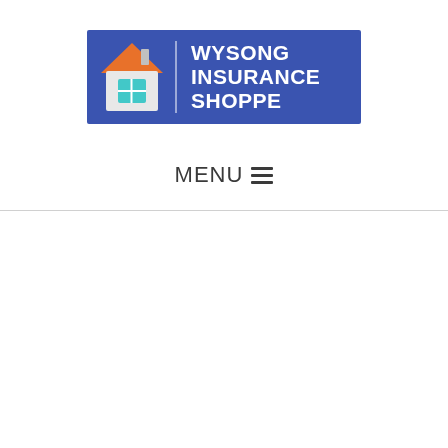[Figure (logo): Wysong Insurance Shoppe logo: blue rectangle with a white house icon on the left and white bold text reading WYSONG INSURANCE SHOPPE on the right]
MENU ☰